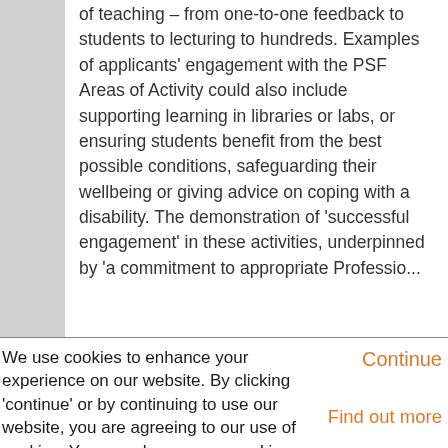of teaching – from one-to-one feedback to students to lecturing to hundreds. Examples of applicants' engagement with the PSF Areas of Activity could also include supporting learning in libraries or labs, or ensuring students benefit from the best possible conditions, safeguarding their wellbeing or giving advice on coping with a disability. The demonstration of 'successful engagement' in these activities, underpinned by 'a commitment to appropriate Professio...
We use cookies to enhance your experience on our website. By clicking 'continue' or by continuing to use our website, you are agreeing to our use of cookies. You can change your cookie settings at any time.
Continue
Find out more